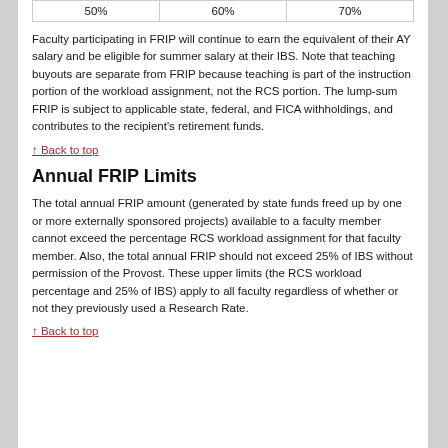| 50% | 60% | 70% |
Faculty participating in FRIP will continue to earn the equivalent of their AY salary and be eligible for summer salary at their IBS. Note that teaching buyouts are separate from FRIP because teaching is part of the instruction portion of the workload assignment, not the RCS portion. The lump-sum FRIP is subject to applicable state, federal, and FICA withholdings, and contributes to the recipient's retirement funds.
↑ Back to top
Annual FRIP Limits
The total annual FRIP amount (generated by state funds freed up by one or more externally sponsored projects) available to a faculty member cannot exceed the percentage RCS workload assignment for that faculty member. Also, the total annual FRIP should not exceed 25% of IBS without permission of the Provost. These upper limits (the RCS workload percentage and 25% of IBS) apply to all faculty regardless of whether or not they previously used a Research Rate.
↑ Back to top